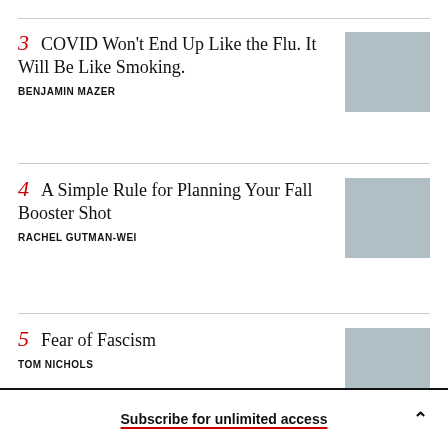3 COVID Won’t End Up Like the Flu. It Will Be Like Smoking. BENJAMIN MAZER
4 A Simple Rule for Planning Your Fall Booster Shot RACHEL GUTMAN-WEI
5 Fear of Fascism TOM NICHOLS
Subscribe for unlimited access